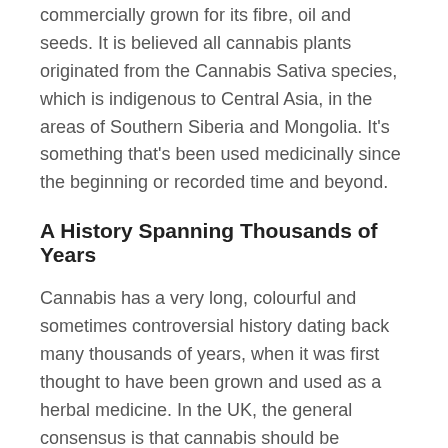commercially grown for its fibre, oil and seeds. It is believed all cannabis plants originated from the Cannabis Sativa species, which is indigenous to Central Asia, in the areas of Southern Siberia and Mongolia. It's something that's been used medicinally since the beginning or recorded time and beyond.
A History Spanning Thousands of Years
Cannabis has a very long, colourful and sometimes controversial history dating back many thousands of years, when it was first thought to have been grown and used as a herbal medicine. In the UK, the general consensus is that cannabis should be avoided, due to it still being an illegal drug. This is the driving reason why so many in the UK are often unsure about the legality of CBD oil .
CBD Does Not Include THC & Will Not Get You...